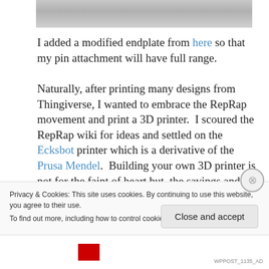[Figure (photo): Partial view of a grayscale photo at the top of the page]
I added a modified endplate from here so that my pin attachment will have full range.

Naturally, after printing many designs from Thingiverse, I wanted to embrace the RepRap movement and print a 3D printer.  I scoured the RepRap wiki for ideas and settled on the Ecksbot printer which is a derivative of the Prusa Mendel.  Building your own 3D printer is not for the faint of heart but, the savings and knowledge gained is
Privacy & Cookies: This site uses cookies. By continuing to use this website, you agree to their use.
To find out more, including how to control cookies, see here: Cookie Policy
Close and accept